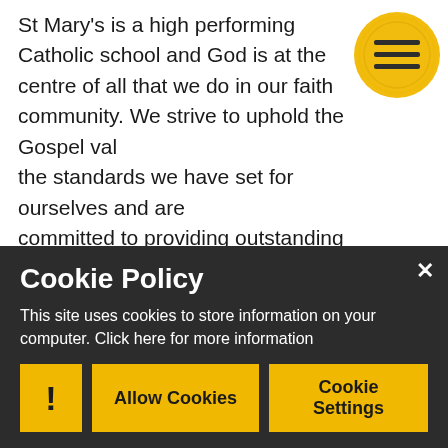St Mary's is a high performing Catholic school and God is at the centre of all that we do in our faith community. We strive to uphold the Gospel values, the standards we have set for ourselves and are committed to providing outstanding academic, pastoral and spiritual development for all of our pupils.
[Figure (illustration): Yellow circular menu button with three horizontal lines (hamburger menu icon)]
We are blessed with beautiful surroundings in which to work and learn and with talented teachers committed to helping our pupils realise their potential.
look forward to meeting you at our forthcoming Evening... to working with you and... Best wi... rt...
Cookie Policy
This site uses cookies to store information on your computer. Click here for more information
Allow Cookies
Cookie Settings